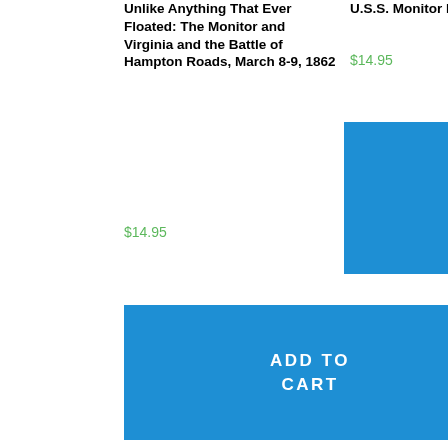Unlike Anything That Ever Floated: The Monitor and Virginia and the Battle of Hampton Roads, March 8-9, 1862
$14.95
U.S.S. Monitor Model
$14.95
ADD TO CART
ADD TO CART
Related products
[Figure (photo): Book cover for Shifting Grounds - map style cover with text SHIFTING GROUNDS]
[Figure (photo): Book cover for Aytch: Or, A Side Show of the Big Show - showing group of soldiers in historical photograph]